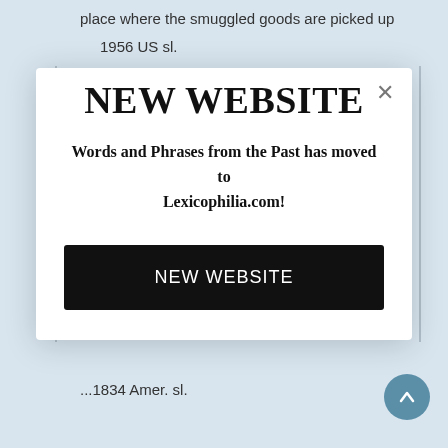place where the smuggled goods are picked up
1956 US sl.
NEW WEBSITE
Words and Phrases from the Past has moved to Lexicophilia.com!
NEW WEBSITE
...1834 Amer. sl.